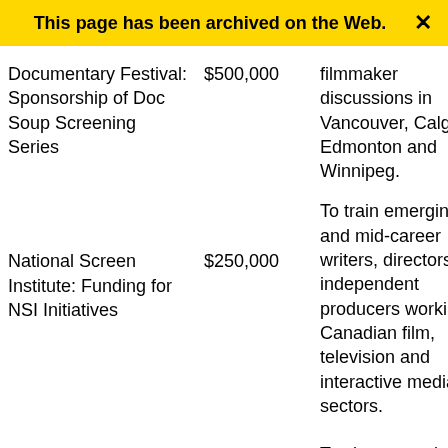This page has been archived on the Web.
| Name | Amount | Description |
| --- | --- | --- |
| Documentary Festival: Sponsorship of Doc Soup Screening Series | $500,000 | filmmaker discussions in Vancouver, Calgary, Edmonton and Winnipeg. |
| National Screen Institute: Funding for NSI Initiatives | $250,000 | To train emerging and mid-career writers, directors and independent producers working in Canadian film, television and interactive media sectors.
To showcase the current state of technology and digital media, and |